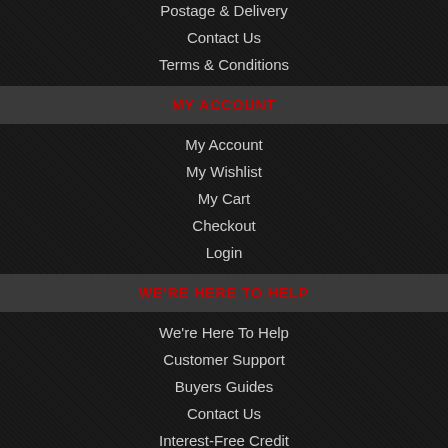Postage & Delivery
Contact Us
Terms & Conditions
MY ACCOUNT
My Account
My Wishlist
My Cart
Checkout
Login
WE'RE HERE TO HELP
We're Here To Help
Customer Support
Buyers Guides
Contact Us
Interest-Free Credit
CONTACT US
EVO Scooters,